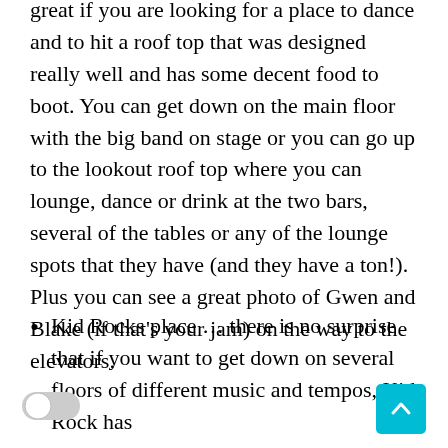great if you are looking for a place to dance and to hit a roof top that was designed really well and has some decent food to boot. You can get down on the main floor with the big band on stage or you can go up to the lookout roof top where you can lounge, dance or drink at the two bars, several of the tables or any of the lounge spots that they have (and they have a ton!). Plus you can see a great photo of Gwen and Blake (if that's your jam) on the way to the elevators.
Kid Rocks place … there is no surprise that if you want to get down on several floors of different music and tempos, Kid Rock has